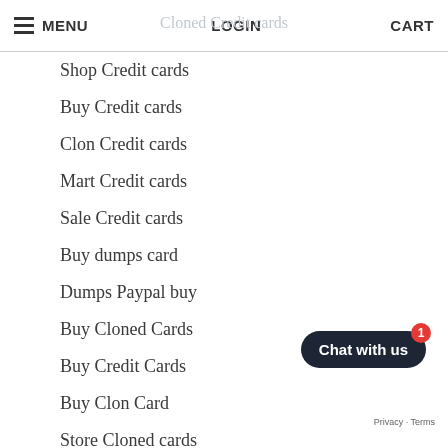MENU   LOGIN   CART
Shop Credit cards
Buy Credit cards
Clon Credit cards
Mart Credit cards
Sale Credit cards
Buy dumps card
Dumps Paypal buy
Buy Cloned Cards
Buy Credit Cards
Buy Clon Card
Store Cloned cards
Shop Cloned cards
Store Credit cards